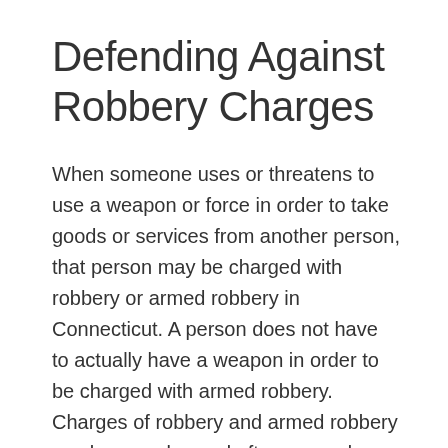Defending Against Robbery Charges
When someone uses or threatens to use a weapon or force in order to take goods or services from another person, that person may be charged with robbery or armed robbery in Connecticut. A person does not have to actually have a weapon in order to be charged with armed robbery. Charges of robbery and armed robbery can be complex and often come down to the identification of the suspect. Given the penalties that can come with a robbery convicted, it is important that your side of the story is told